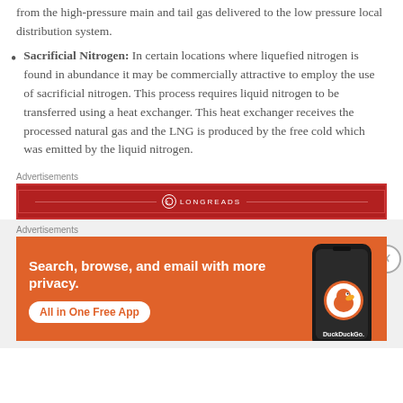from the high-pressure main and tail gas delivered to the low pressure local distribution system.
Sacrificial Nitrogen: In certain locations where liquefied nitrogen is found in abundance it may be commercially attractive to employ the use of sacrificial nitrogen. This process requires liquid nitrogen to be transferred using a heat exchanger. This heat exchanger receives the processed natural gas and the LNG is produced by the free cold which was emitted by the liquid nitrogen.
[Figure (other): Advertisement banner: Longreads logo on dark red background]
[Figure (other): Advertisement banner: DuckDuckGo - Search, browse, and email with more privacy. All in One Free App.]